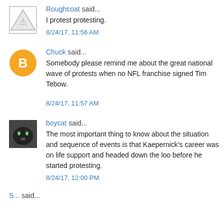Roughcoat said...
I protest protesting.
8/24/17, 11:56 AM
Chuck said...
Somebody please remind me about the great national wave of protests when no NFL franchise signed Tim Tebow.
8/24/17, 11:57 AM
boycat said...
The most important thing to know about the situation and sequence of events is that Kaepernick's career was on life support and headed down the loo before he started protesting.
8/24/17, 12:00 PM